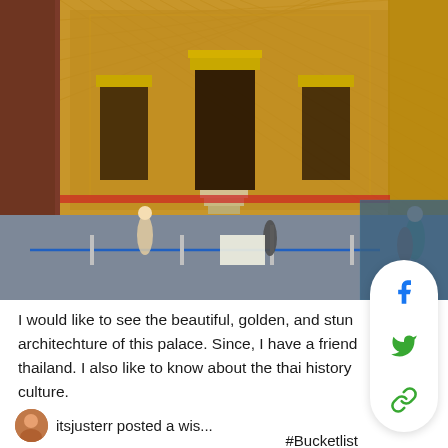[Figure (photo): Thai ornate temple building (Grand Palace Bangkok) with golden mosaic walls, multiple doorways with stairs, tourists walking on grey marble courtyard, blue rope barriers visible, ornate columns in foreground]
I would like to see the beautiful, golden, and stun architechture of this palace. Since, I have a friend thailand. I also like to know about the thai history culture.
#Bucketlist
itsjusterr posted a wis...